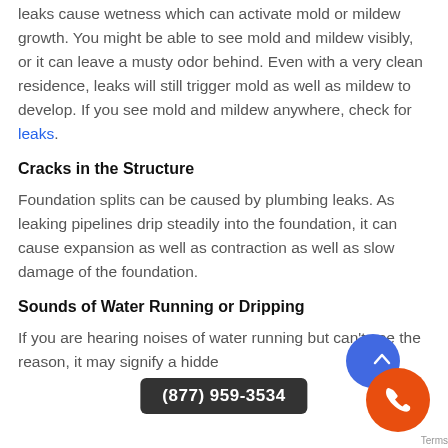leaks cause wetness which can activate mold or mildew growth. You might be able to see mold and mildew visibly, or it can leave a musty odor behind. Even with a very clean residence, leaks will still trigger mold as well as mildew to develop. If you see mold and mildew anywhere, check for leaks.
Cracks in the Structure
Foundation splits can be caused by plumbing leaks. As leaking pipelines drip steadily into the foundation, it can cause expansion as well as contraction as well as slow damage of the foundation.
Sounds of Water Running or Dripping
If you are hearing noises of water running but can't see the reason, it may signify a hidde…